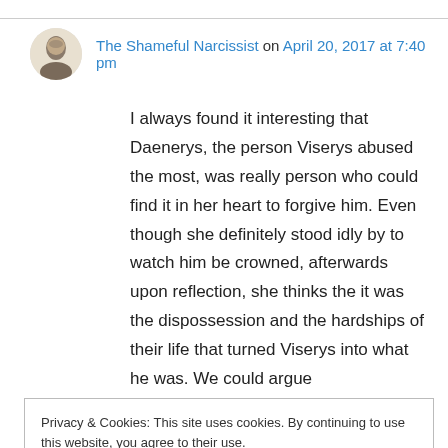The Shameful Narcissist on April 20, 2017 at 7:40 pm
I always found it interesting that Daenerys, the person Viserys abused the most, was really person who could find it in her heart to forgive him. Even though she definitely stood idly by to watch him be crowned, afterwards upon reflection, she thinks the it was the dispossession and the hardships of their life that turned Viserys into what he was. We could argue
Privacy & Cookies: This site uses cookies. By continuing to use this website, you agree to their use.
To find out more, including how to control cookies, see here: Cookie Policy
assessment of the would-be-king. "Rhaegar was